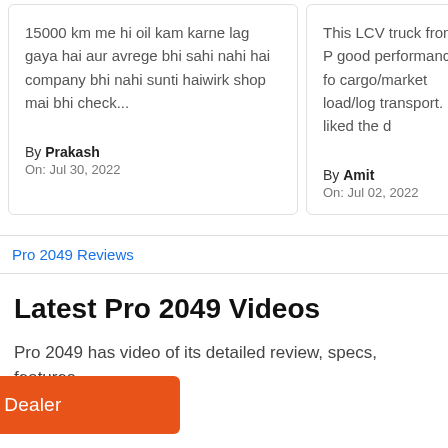15000 km me hi oil kam karne lag gaya hai aur avrege bhi sahi nahi hai company bhi nahi sunti haiwirk shop mai bhi check...
By Prakash
On: Jul 30, 2022
This LCV truck from P good performance for cargo/market load/log transport. I liked the d
By Amit
On: Jul 02, 2022
Pro 2049 Reviews
Latest Pro 2049 Videos
Pro 2049 has video of its detailed review, specs, features
Talk To Dealer